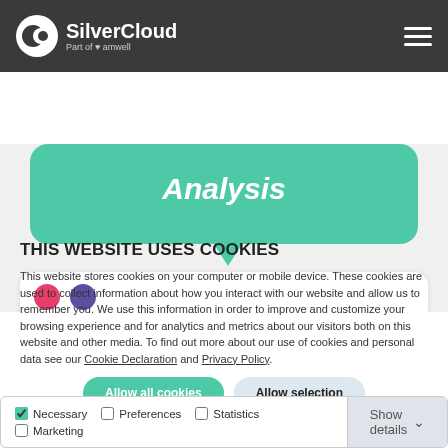SilverCloud - Part of amwell
[Figure (screenshot): Teal chat bubble with partially visible italic text 'Analysis' and a white card with pink and purple dots below]
THIS WEBSITE USES COOKIES
This website stores cookies on your computer or mobile device. These cookies are used to collect information about how you interact with our website and allow us to remember you. We use this information in order to improve and customize your browsing experience and for analytics and metrics about our visitors both on this website and other media. To find out more about our use of cookies and personal data see our Cookie Declaration and Privacy Policy.
Allow all cookies | Allow selection
| Necessary | Preferences | Statistics | Show details |
| --- | --- | --- | --- |
| ☑ Necessary | ☐ Preferences | ☐ Statistics | Show details ∨ |
| ☐ Marketing |  |  |  |